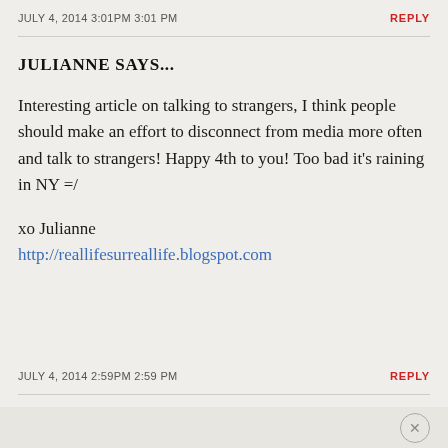JULY 4, 2014 3:01PM 3:01 PM
JULIANNE SAYS...
Interesting article on talking to strangers, I think people should make an effort to disconnect from media more often and talk to strangers! Happy 4th to you! Too bad it's raining in NY =/

xo Julianne
http://reallifesurreallife.blogspot.com
JULY 4, 2014 2:59PM 2:59 PM